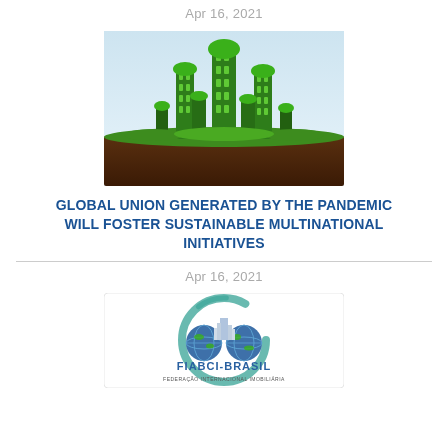Apr 16, 2021
[Figure (photo): Green city skyline made of grass and plants on a cross-section of soil/earth background]
GLOBAL UNION GENERATED BY THE PANDEMIC WILL FOSTER SUSTAINABLE MULTINATIONAL INITIATIVES
Apr 16, 2021
[Figure (logo): FIABCI-BRASIL logo - Federação Internacional Imobiliária, showing two globe icons and a building, surrounded by a circular teal brushstroke border]